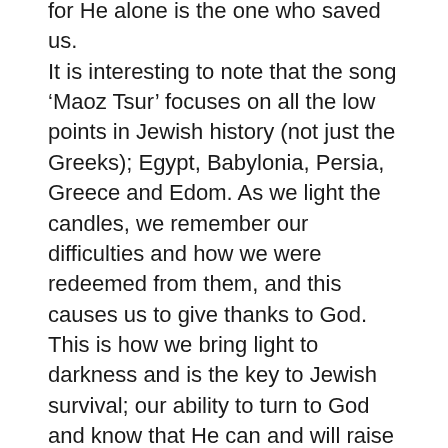for He alone is the one who saved us. It is interesting to note that the song ‘Maoz Tsur’ focuses on all the low points in Jewish history (not just the Greeks); Egypt, Babylonia, Persia, Greece and Edom. As we light the candles, we remember our difficulties and how we were redeemed from them, and this causes us to give thanks to God. This is how we bring light to darkness and is the key to Jewish survival; our ability to turn to God and know that He can and will raise us up.
Although the situation at present in our homeland is filled with grief and terror, we need to turn to God and ask Him to once more turn suffering into relief, degradation into elevation, darkness into light and exile into redemption. May it come speedily in our days. Amen.